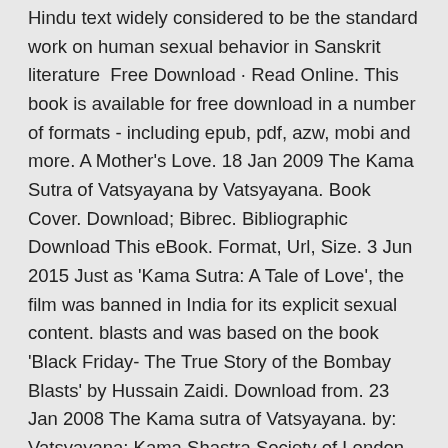Hindu text widely considered to be the standard work on human sexual behavior in Sanskrit literature  Free Download · Read Online. This book is available for free download in a number of formats - including epub, pdf, azw, mobi and more. A Mother's Love. 18 Jan 2009 The Kama Sutra of Vatsyayana by Vatsyayana. Book Cover. Download; Bibrec. Bibliographic Download This eBook. Format, Url, Size. 3 Jun 2015 Just as 'Kama Sutra: A Tale of Love', the film was banned in India for its explicit sexual content. blasts and was based on the book 'Black Friday- The True Story of the Bombay Blasts' by Hussain Zaidi. Download from. 23 Jan 2008 The Kama sutra of Vatsyayana. by: Vatsyayana; Kama Shastra Society of London and Benares. Publication date: c1883-1925. Topics: Love.
Free Download · Read Online. This book is available for free download in a